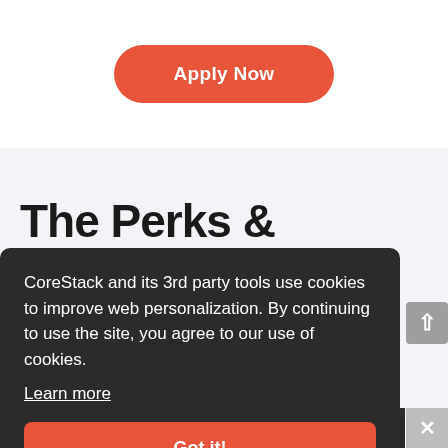Apply Now
The Perks & Benefits
CoreStack and its 3rd party tools use cookies to improve web personalization. By continuing to use the site, you agree to our use of cookies.
Learn more
Got it!
Share This ∨
×